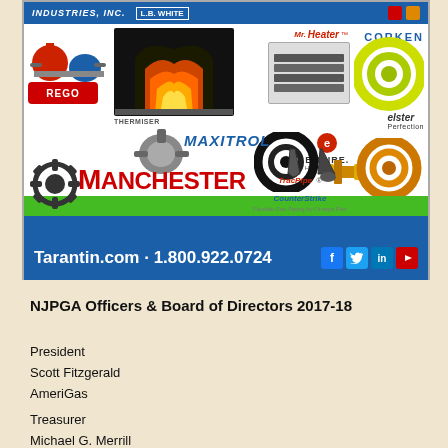[Figure (illustration): Tarantin Industries advertisement featuring multiple propane and gas equipment brands including Manchester tanks, Maxitrol, Mr. Heater, Corken, Elster, Empire, TracPipe, CounterStrike. Bottom bar shows Tarantin.com and phone number 1.800.922.0724 with social media icons.]
NJPGA Officers & Board of Directors 2017-18
President
Scott Fitzgerald
AmeriGas
Treasurer
Michael G. Merrill
JEM Mechanical Services